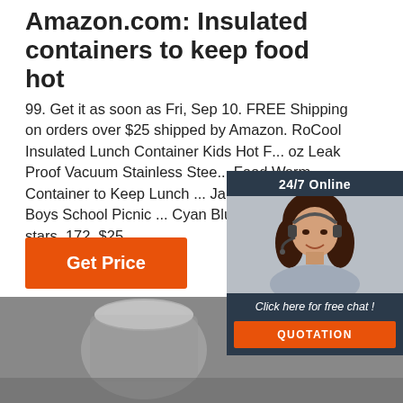Amazon.com: Insulated containers to keep food hot
99. Get it as soon as Fri, Sep 10. FREE Shipping on orders over $25 shipped by Amazon. RoCool Insulated Lunch Container Kids Hot F... oz Leak Proof Vacuum Stainless Stee... Food Warm Container to Keep Lunch ... Jar Bento for Girls Boys School Picnic ... Cyan Blue. 4.6 out of 5 stars. 172. $25...
[Figure (other): 24/7 online chat widget with photo of woman with headset, 'Click here for free chat!' text, and QUOTATION button]
[Figure (other): Orange GET PRICE button]
[Figure (other): TOP navigation icon in orange dots with TOP label]
[Figure (photo): Grayscale photo of insulated food container]